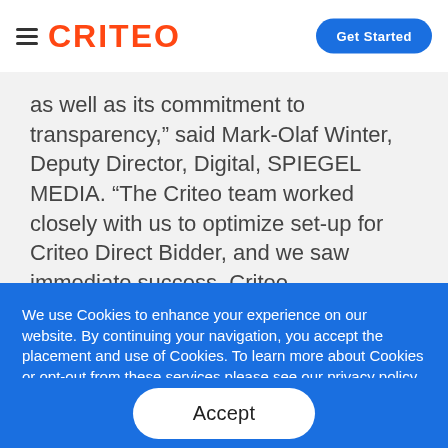CRITEO — Get Started
as well as its commitment to transparency,” said Mark-Olaf Winter, Deputy Director, Digital, SPIEGEL MEDIA. “The Criteo team worked closely with us to optimize set-up for Criteo Direct Bidder, and we saw immediate success. Criteo
We use Cookies to enhance your experience on our website. By continuing your navigation, you accept the placement and use of Cookies. To learn more about Cookies or opt-out from these services please see our privacy policy
Accept